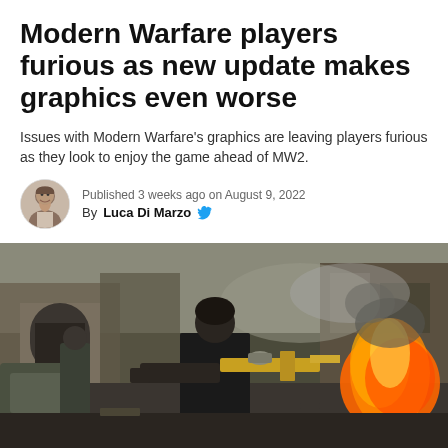Modern Warfare players furious as new update makes graphics even worse
Issues with Modern Warfare's graphics are leaving players furious as they look to enjoy the game ahead of MW2.
Published 3 weeks ago on August 9, 2022
By Luca Di Marzo
[Figure (photo): Screenshot from Modern Warfare showing a soldier in black aiming a gold weapon toward a fire explosion in a war-torn urban environment with arched buildings in the background]